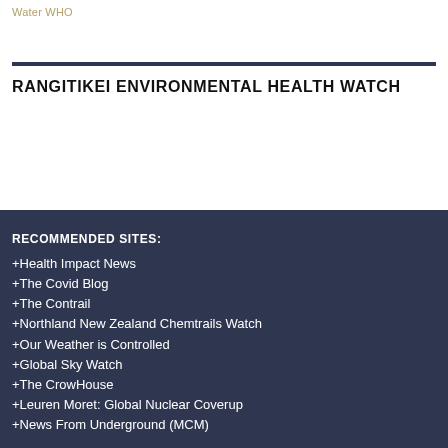Water WHO
RANGITIKEI ENVIRONMENTAL HEALTH WATCH
RECOMMENDED SITES:
+Health Impact News
+The Covid Blog
+The Contrail
+Northland New Zealand Chemtrails Watch
+Our Weather is Controlled
+Global Sky Watch
+The CrowHouse
+Leuren Moret: Global Nuclear Coverup
+News From Underground (MCM)